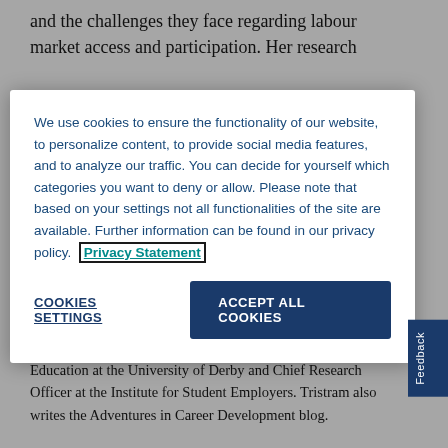and the challenges they face regarding labour market access and participation. Her research
We use cookies to ensure the functionality of our website, to personalize content, to provide social media features, and to analyze our traffic. You can decide for yourself which categories you want to deny or allow. Please note that based on your settings not all functionalities of the site are available. Further information can be found in our privacy policy. Privacy Statement
Cookies Settings
Accept All Cookies
Norway University of Applied Sciences, Professor of Career Education at the University of Derby and Chief Research Officer at the Institute for Student Employers. Tristram also writes the Adventures in Career Development blog.
Steffen Jensen
is appointed as and former Head of Division...